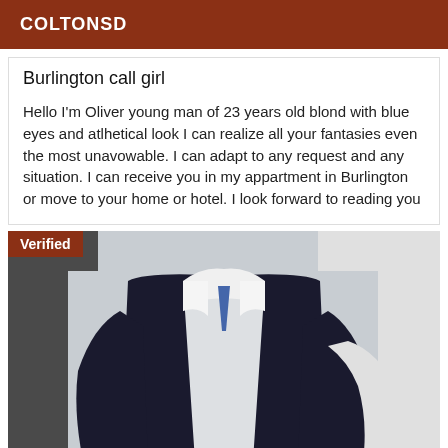COLTONSD
Burlington call girl
Hello I'm Oliver young man of 23 years old blond with blue eyes and atlhetical look I can realize all your fantasies even the most unavowable. I can adapt to any request and any situation. I can receive you in my appartment in Burlington or move to your home or hotel. I look forward to reading you
[Figure (photo): Photo of a young man wearing a dark vest over a white dress shirt, cropped at torso, indoors. A 'Verified' badge overlays the top-left corner.]